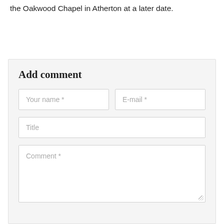the Oakwood Chapel in Atherton at a later date.
Add comment
Your name *
E-mail *
Title
Comment *